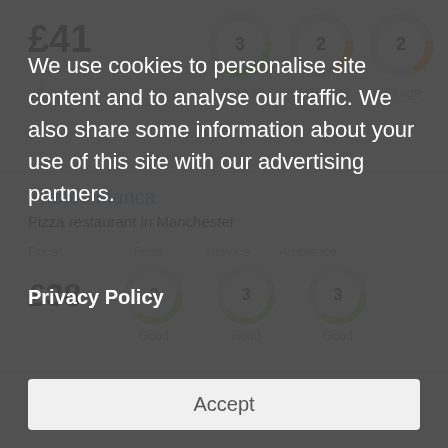[Figure (infographic): Restaurant rating card showing price £41, and three donut charts: Food rated 3 (Good), Service rated 2 (Average), Ambience rated 2 (Average)]
Franco Manca
Pizza restaurant in Manchester
[Figure (infographic): Restaurant rating card showing price £38, and three donut charts: Food rated 3 (Good), Service rated 3 (Good), Ambience rated 3 (Good)]
We use cookies to personalise site content and to analyse our traffic. We also share some information about your use of this site with our advertising partners.
Privacy Policy
Accept